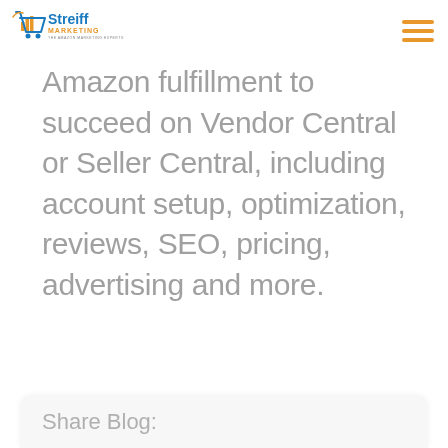[Figure (logo): Streiff Marketing logo — shopping cart icon with bar chart, blue and orange colors, text 'Streiff MARKETING THE AMAZON MARKETING EXPERTS']
Amazon fulfillment to succeed on Vendor Central or Seller Central, including account setup, optimization, reviews, SEO, pricing, advertising and more.
Share Blog: